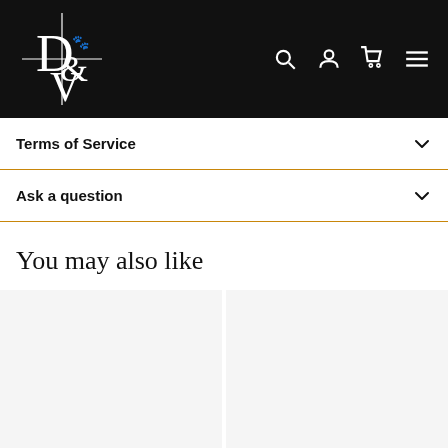DVC Pet store logo and navigation header
Terms of Service
Ask a question
You may also like
[Figure (other): Two empty product card placeholders in a grid layout]